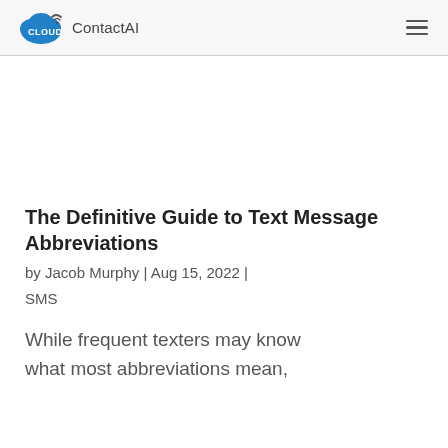CLOUD ContactAI
The Definitive Guide to Text Message Abbreviations
by Jacob Murphy | Aug 15, 2022 | SMS
While frequent texters may know what most abbreviations mean,